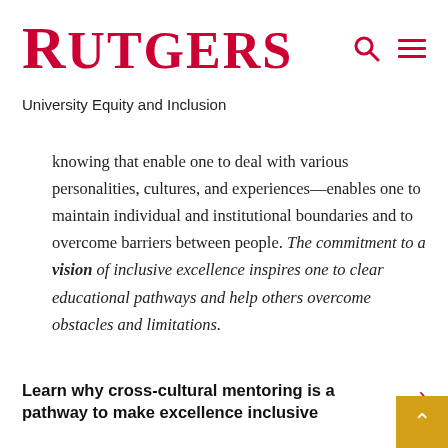[Figure (logo): Rutgers University logo in red serif uppercase text with search and hamburger menu icons]
University Equity and Inclusion
knowing that enable one to deal with various personalities, cultures, and experiences—enables one to maintain individual and institutional boundaries and to overcome barriers between people. The commitment to a vision of inclusive excellence inspires one to clear educational pathways and help others overcome obstacles and limitations.
Learn why cross-cultural mentoring is a pathway to make excellence inclusive